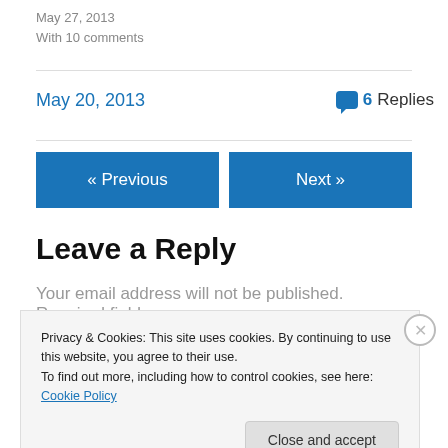May 27, 2013
With 10 comments
May 20, 2013
6 Replies
« Previous
Next »
Leave a Reply
Your email address will not be published. Required fields
Privacy & Cookies: This site uses cookies. By continuing to use this website, you agree to their use.
To find out more, including how to control cookies, see here: Cookie Policy
Close and accept